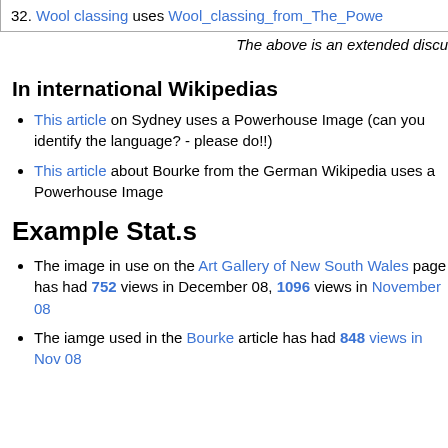32. Wool classing uses Wool_classing_from_The_Powe...
The above is an extended discu...
In international Wikipedias
This article on Sydney uses a Powerhouse Image (can you identify the language? - please do!!)
This article about Bourke from the German Wikipedia uses a Powerhouse Image
Example Stat.s
The image in use on the Art Gallery of New South Wales page has had 752 views in December 08, 1096 views in November 08
The iamge used in the Bourke article has had 848 views in Nov 08